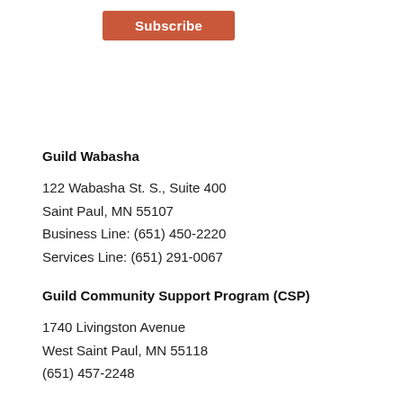[Figure (other): Subscribe button — orange/red rounded rectangle with white bold text 'Subscribe']
Guild Wabasha
122 Wabasha St. S., Suite 400
Saint Paul, MN 55107
Business Line: (651) 450-2220
Services Line: (651) 291-0067
Guild Community Support Program (CSP)
1740 Livingston Avenue
West Saint Paul, MN 55118
(651) 457-2248